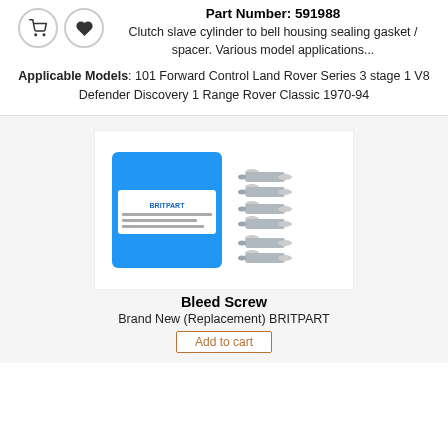Part Number: 591988
Clutch slave cylinder to bell housing sealing gasket / spacer. Various model applications...
Applicable Models: 101 Forward Control Land Rover Series 3 stage 1 V8 Defender Discovery 1 Range Rover Classic 1970-94
[Figure (photo): Photo of a Britpart bleed screw product — a blue packaging bag labeled BRITPART with multiple small metal bleed screws arranged beside it.]
Bleed Screw
Brand New (Replacement) BRITPART